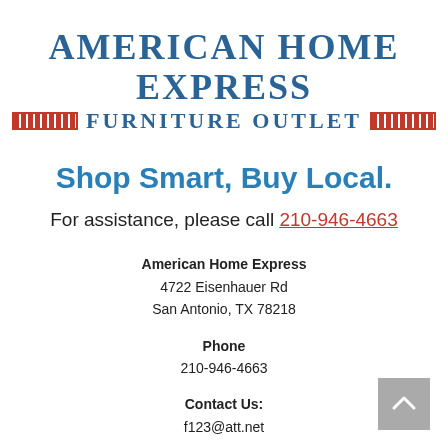AMERICAN HOME EXPRESS FURNITURE OUTLET
Shop Smart, Buy Local.
For assistance, please call 210-946-4663
American Home Express
4722 Eisenhauer Rd
San Antonio, TX 78218
Phone
210-946-4663
Contact Us:
f123@att.net
Contact Us: